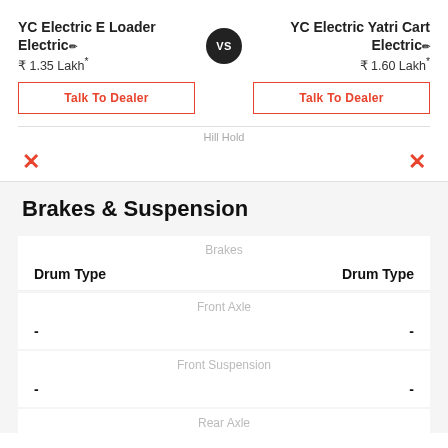YC Electric E Loader
Electric
₹ 1.35 Lakh*
VS
YC Electric Yatri Cart
Electric
₹ 1.60 Lakh*
Talk To Dealer
Talk To Dealer
Hill Hold
✗
✗
Brakes & Suspension
| Left | Center | Right |
| --- | --- | --- |
|  | Brakes |  |
| Drum Type |  | Drum Type |
|  | Front Axle |  |
| - |  | - |
|  | Front Suspension |  |
| - |  | - |
|  | Rear Axle |  |